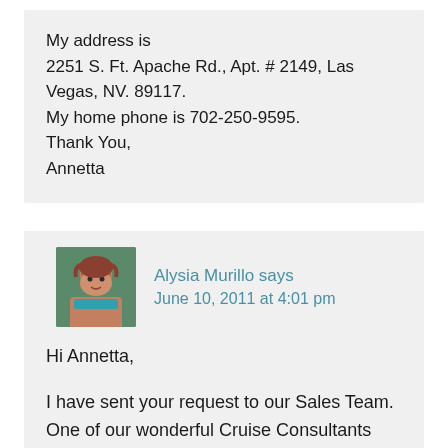My address is
2251 S. Ft. Apache Rd., Apt. # 2149, Las Vegas, NV. 89117.
My home phone is 702-250-9595.
Thank You,
Annetta
Alysia Murillo says
June 10, 2011 at 4:01 pm
Hi Annetta,

I have sent your request to our Sales Team. One of our wonderful Cruise Consultants